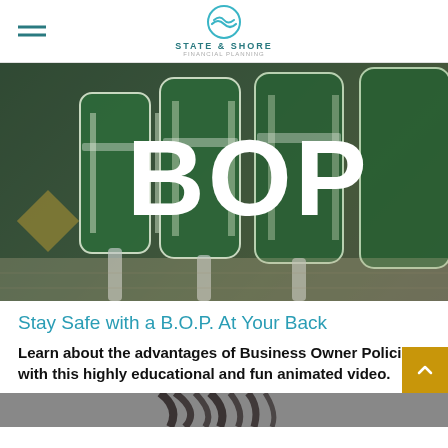STATE & SHORE
[Figure (photo): Diner bar stools with green vinyl upholstery and chrome legs, with large white text 'BOP' overlaid on the image]
Stay Safe with a B.O.P. At Your Back
Learn about the advantages of Business Owner Policies with this highly educational and fun animated video.
[Figure (photo): Partial view of a dark-haired person, bottom strip visible]